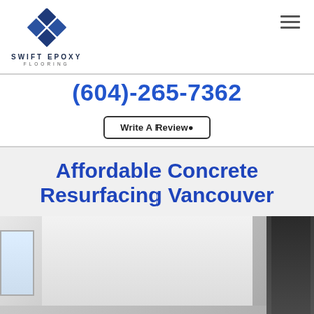[Figure (logo): Swift Epoxy Flooring logo — diamond/rhombus shape made of four blue square tiles, with text SWIFT EPOXY above FLOORING below]
(604)-265-7362
Write A Review
Affordable Concrete Resurfacing Vancouver
[Figure (photo): Interior room photo showing concrete resurfaced wall in light gray tones, a window on the left, and a dark door frame on the right]